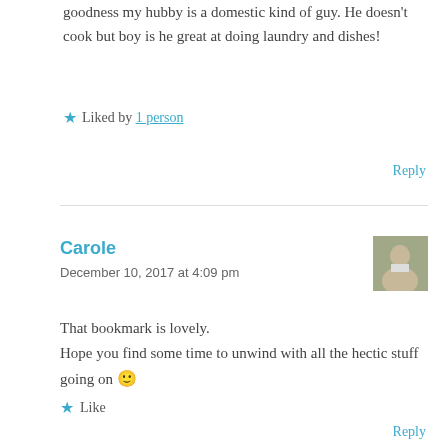goodness my hubby is a domestic kind of guy. He doesn't cook but boy is he great at doing laundry and dishes!
★ Liked by 1 person
Reply
Carole
December 10, 2017 at 4:09 pm
[Figure (photo): Avatar photo of commenter Carole]
That bookmark is lovely.
Hope you find some time to unwind with all the hectic stuff going on 🙂
★ Like
Reply